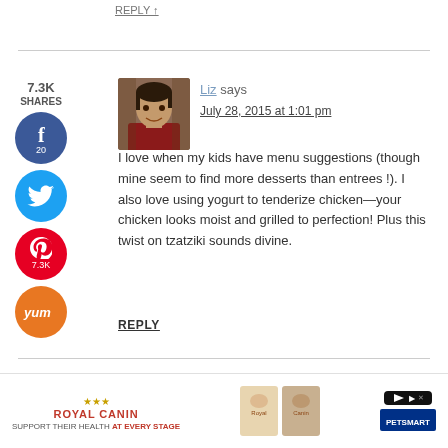REPLY ↑
[Figure (other): Social share sidebar with Facebook (20), Twitter, Pinterest (7.3K), and Yum buttons]
[Figure (photo): Avatar photo of commenter Liz, showing a woman with dark hair]
Liz says
July 28, 2015 at 1:01 pm
I love when my kids have menu suggestions (though mine seem to find more desserts than entrees !). I also love using yogurt to tenderize chicken—your chicken looks moist and grilled to perfection! Plus this twist on tzatziki sounds divine.
REPLY
[Figure (other): Royal Canin advertisement banner: 'Support their health at every stage' with PetSmart logo]